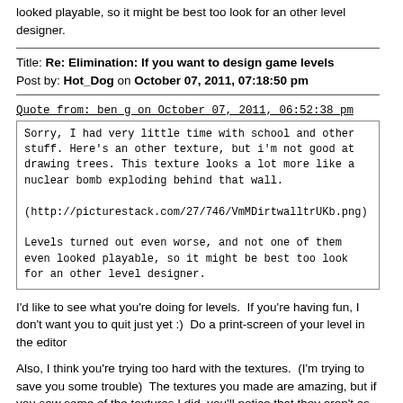looked playable, so it might be best too look for an other level designer.
Title: Re: Elimination: If you want to design game levels
Post by: Hot_Dog on October 07, 2011, 07:18:50 pm
Quote from: ben_g on October 07, 2011, 06:52:38 pm
Sorry, I had very little time with school and other stuff. Here's an other texture, but i'm not good at drawing trees. This texture looks a lot more like a nuclear bomb exploding behind that wall.

(http://picturestack.com/27/746/VmMDirtwalltrUKb.png)

Levels turned out even worse, and not one of them even looked playable, so it might be best too look for an other level designer.
I'd like to see what you're doing for levels.  If you're having fun, I don't want you to quit just yet :)  Do a print-screen of your level in the editor
Also, I think you're trying too hard with the textures.  (I'm trying to save you some trouble)  The textures you made are amazing, but if you saw some of the textures I did, you'll notice that they aren't as realistic or as astonishing as yours are.  It's because I don't go out of my way to create realism.  If you'd like, I won't mind you trying to make your textures simpler :)  Incidentally, the texture for trees behind walls should have more than one tree...I was thinking a group of trees.
Boot, it's 3 level grayscale.  You also told me you were